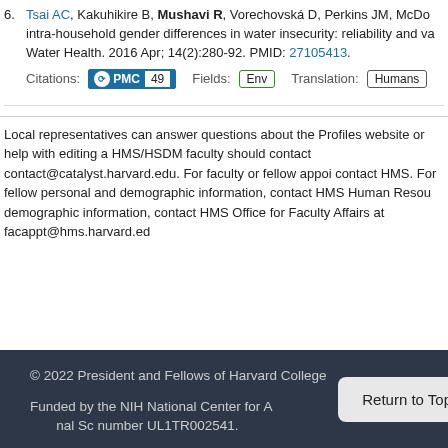6. Tsai AC, Kakuhikire B, Mushavi R, Vorechovská D, Perkins JM, McDo... intra-household gender differences in water insecurity: reliability and va... Water Health. 2016 Apr; 14(2):280-92. PMID: 27105413.
Citations: PMC 49   Fields: Env   Translation: Humans
Local representatives can answer questions about the Profiles website or help with editing a HMS/HSDM faculty should contact contact@catalyst.harvard.edu. For faculty or fellow appoi contact HMS. For fellow personal and demographic information, contact HMS Human Resou demographic information, contact HMS Office for Faculty Affairs at facappt@hms.harvard.ed
© 2022 President and Fellows of Harvard College

Funded by the NIH National Center for A... number UL1TR002541.